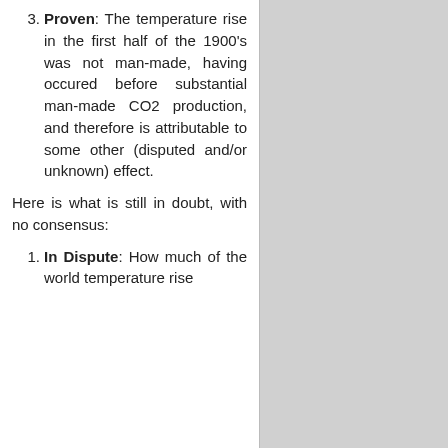3. Proven: The temperature rise in the first half of the 1900's was not man-made, having occured before substantial man-made CO2 production, and therefore is attributable to some other (disputed and/or unknown) effect.
Here is what is still in doubt, with no consensus:
1. In Dispute: How much of the world temperature rise